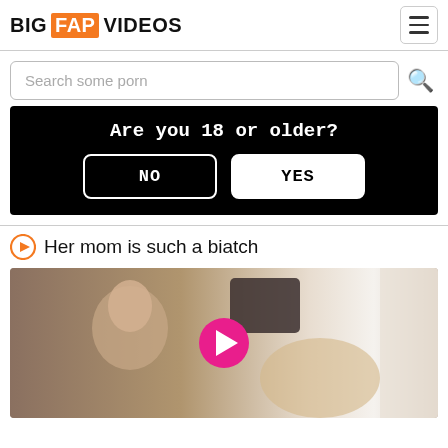BIG FAP VIDEOS
Search some porn
[Figure (screenshot): Age verification overlay on black background with text 'Are you 18 or older?' and two buttons: NO and YES]
Her mom is such a biatch
[Figure (photo): Video thumbnail showing two people in a bedroom scene with a pink play button overlay]